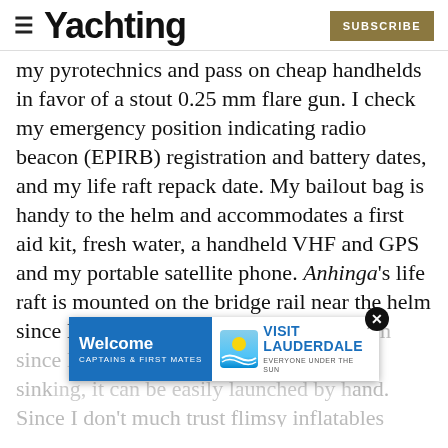Yachting | SUBSCRIBE
my pyrotechnics and pass on cheap handhelds in favor of a stout 0.25 mm flare gun. I check my emergency position indicating radio beacon (EPIRB) registration and battery dates, and my life raft repack date. My bailout bag is handy to the helm and accommodates a first aid kit, fresh water, a handheld VHF and GPS and my portable satellite phone. Anhinga's life raft is mounted on the bridge rail near the helm since I believe that, in the case of sinking, it can be easily launched by hand. Since I don't much trust flimsy inflatables
[Figure (other): Advertisement banner: Welcome Captains & First Mates | Visit Lauderdale - Everyone Under the Sun]